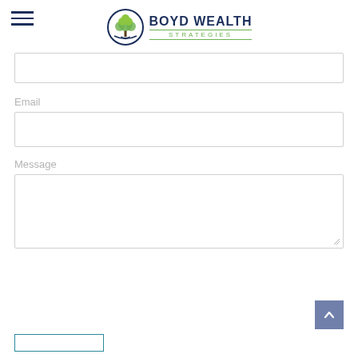Boyd Wealth Strategies
Email
Message